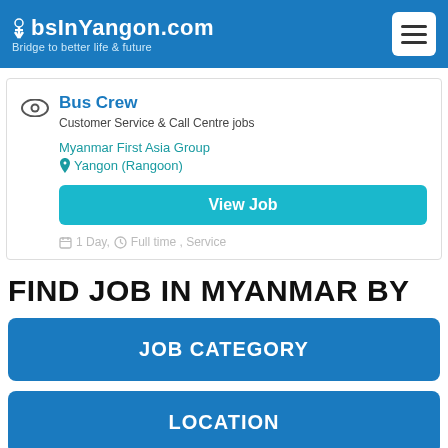JobsInYangon.com — Bridge to better life & future
Bus Crew
Customer Service & Call Centre jobs
Myanmar First Asia Group
Yangon (Rangoon)
View Job
1 Day,  Full time ,  Service
FIND JOB IN MYANMAR BY
JOB CATEGORY
LOCATION